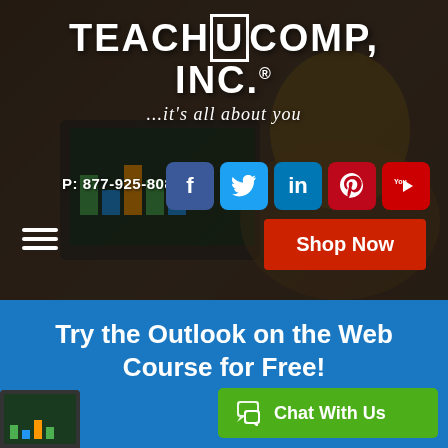[Figure (screenshot): TeachUcomp Inc. website hero banner showing logo, tagline, phone number, social media icons, hamburger menu, Shop Now button, and a woman smiling at a laptop in the background]
Try the Outlook on the Web Course for Free!
[Figure (other): Green Chat With Us button with chat icon]